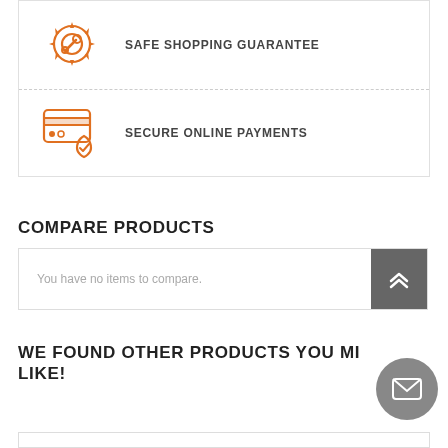[Figure (illustration): Orange gear/wrench icon for Safe Shopping Guarantee]
SAFE SHOPPING GUARANTEE
[Figure (illustration): Orange credit card with shield/checkmark icon for Secure Online Payments]
SECURE ONLINE PAYMENTS
COMPARE PRODUCTS
You have no items to compare.
WE FOUND OTHER PRODUCTS YOU MIGHT LIKE!